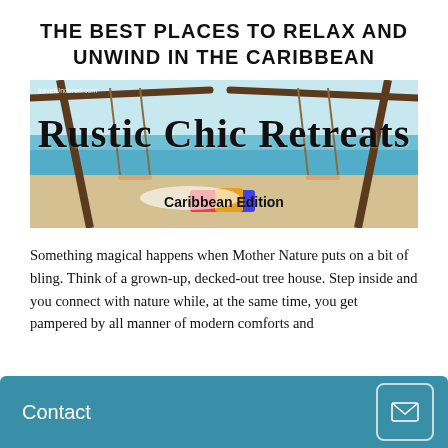THE BEST PLACES TO RELAX AND UNWIND IN THE CARIBBEAN
[Figure (photo): Beach scene with rustic wooden swing structure, turquoise Caribbean sea, white sand, and colorful pillows. Overlaid text reads 'Rustic Chic Retreats' in cursive and 'Caribbean Edition' in bold. Watermark: travelUndered.com]
Something magical happens when Mother Nature puts on a bit of bling. Think of a grown-up, decked-out tree house. Step inside and you connect with nature while, at the same time, you get pampered by all manner of modern comforts and
Contact